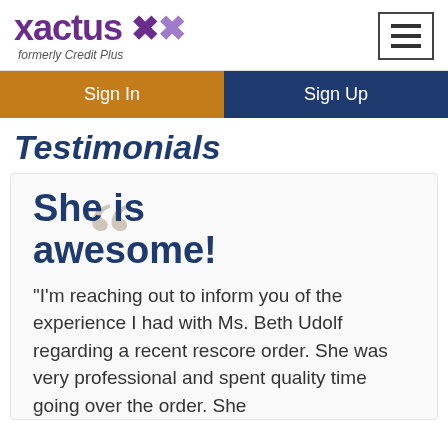xactus formerly Credit Plus
Testimonials
She is awesome!
"I'm reaching out to inform you of the experience I had with Ms. Beth Udolf regarding a recent rescore order. She was very professional and spent quality time going over the order. She